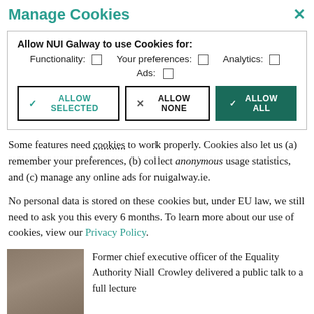Manage Cookies
Allow NUI Galway to use Cookies for: Functionality: ☐ Your preferences: ☐ Analytics: ☐ Ads: ☐
✓ ALLOW SELECTED | × ALLOW NONE | ✓ ALLOW ALL
Some features need cookies to work properly. Cookies also let us (a) remember your preferences, (b) collect anonymous usage statistics, and (c) manage any online ads for nuigalway.ie.
No personal data is stored on these cookies but, under EU law, we still need to ask you this every 6 months. To learn more about our use of cookies, view our Privacy Policy.
Former chief executive officer of the Equality Authority Niall Crowley delivered a public talk to a full lecture theatre at NUI Galway on 12 March. Speaking about 'a